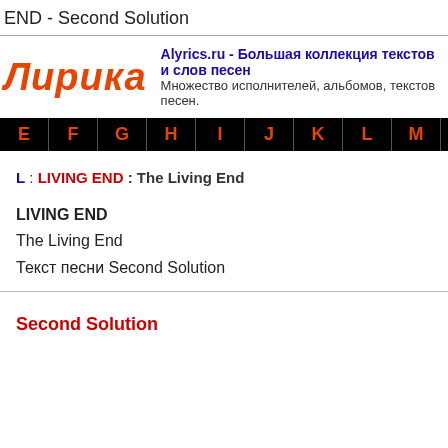END - Second Solution
[Figure (logo): Лирика logo in orange italic text with site info: Alyrics.ru - Большая коллекция текстов и слов песе... Множество исполнителей, альбомов, текстов песен.]
E F G H I J K L M N O P Q R S T U V
L : LIVING END : The Living End
LIVING END
The Living End
Текст песни Second Solution
Second Solution